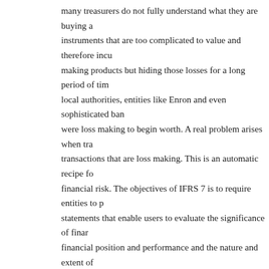many treasurers do not fully understand what they are buying and instruments that are too complicated to value and therefore incur making products but hiding those losses for a long period of time local authorities, entities like Enron and even sophisticated banks were loss making to begin worth. A real problem arises when transactions that are loss making. This is an automatic recipe for financial risk. The objectives of IFRS 7 is to require entities to provide statements that enable users to evaluate the significance of financial position and performance and the nature and extent of instruments to which the entity is exposed. The entity must also Many accounting practitioners believe that IFRS 7 is a 'tall order' understand the risks of even the most complex of financial instruments that what the entity says under IFRS 7 represents a 'true and fair' always fully conversant with the complexities of toxic structured evaluate how risky they are and so tend to rely on the entity complying IFRS 7. Another practical problem with the implementation of IFRS 7 standard that both financial institutions such as hedge funds and but also applies to more straightforward manufacturing entities operations. Some companies find these requirements too onerous